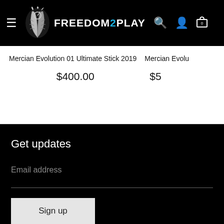FREEDOM2PLAY navigation bar with logo, search, account, and cart icons
Mercian Evolution 01 Ultimate Stick 2019
$400.00
Mercian Evolu...
$5...
Get updates
Email address
Sign up